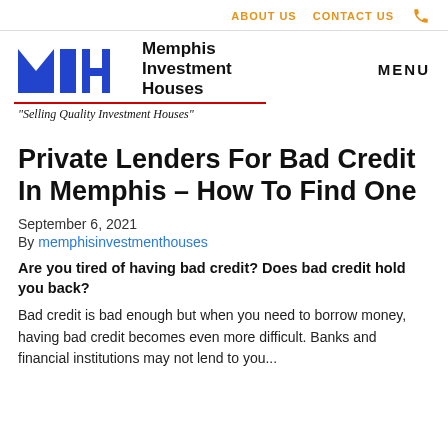ABOUT US   CONTACT US   📞
[Figure (logo): Memphis Investment Houses logo with stylized MIH letters in blue and text 'Memphis Investment Houses' with tagline 'Selling Quality Investment Houses']
Private Lenders For Bad Credit In Memphis – How To Find One
September 6, 2021
By memphisinvestmenthouses
Are you tired of having bad credit? Does bad credit hold you back?
Bad credit is bad enough but when you need to borrow money, having bad credit becomes even more difficult. Banks and financial institutions may not lend to you...